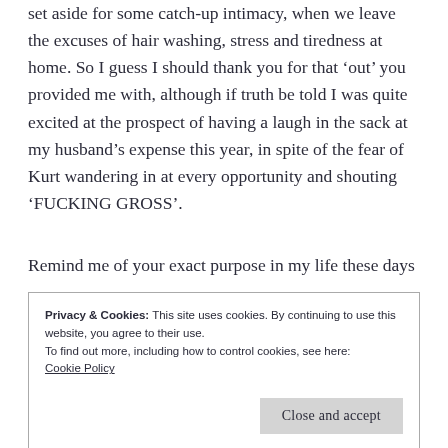set aside for some catch-up intimacy, when we leave the excuses of hair washing, stress and tiredness at home. So I guess I should thank you for that ‘out’ you provided me with, although if truth be told I was quite excited at the prospect of having a laugh in the sack at my husband’s expense this year, in spite of the fear of Kurt wandering in at every opportunity and shouting ‘FUCKING GROSS’.
Remind me of your exact purpose in my life these days
Privacy & Cookies: This site uses cookies. By continuing to use this website, you agree to their use.
To find out more, including how to control cookies, see here:
Cookie Policy
Close and accept